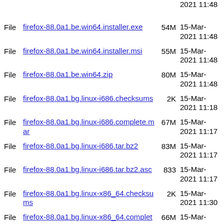File firefox-88.0a1.be.win64.installer.exe 54M 15-Mar-2021 11:48
File firefox-88.0a1.be.win64.installer.msi 55M 15-Mar-2021 11:48
File firefox-88.0a1.be.win64.zip 80M 15-Mar-2021 11:48
File firefox-88.0a1.bg.linux-i686.checksums 2K 15-Mar-2021 11:18
File firefox-88.0a1.bg.linux-i686.complete.mar 67M 15-Mar-2021 11:17
File firefox-88.0a1.bg.linux-i686.tar.bz2 83M 15-Mar-2021 11:17
File firefox-88.0a1.bg.linux-i686.tar.bz2.asc 833 15-Mar-2021 11:17
File firefox-88.0a1.bg.linux-x86_64.checksums 2K 15-Mar-2021 11:30
File firefox-88.0a1.bg.linux-x86_64.complete.mar 66M 15-Mar-2021 11:29
File firefox-88.0a1.bg.linux-x86_64.tar.bz2 82M 15-Mar-2021 11:29
File firefox-88.0a1.bg.linux-x86_64.tar.bz2.asc 833 15-Mar-2021 11:29